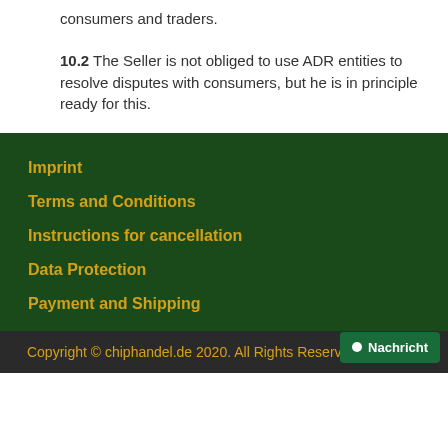consumers and traders.
10.2 The Seller is not obliged to use ADR entities to resolve disputes with consumers, but he is in principle ready for this.
Imprint
Terms and Conditions
Instructions for cancellation
Data Protection
Payment and Shipping
Copyright © chiphandel.de 2020. All Rights Reserved.